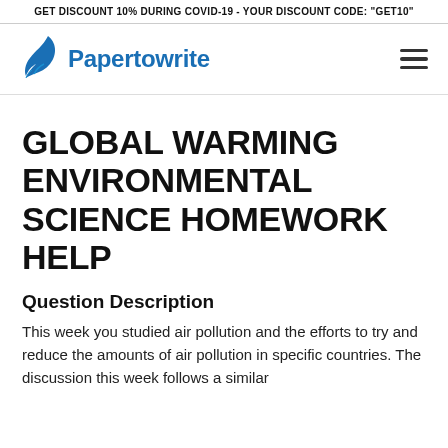GET DISCOUNT 10% DURING COVID-19 - YOUR DISCOUNT CODE: "GET10"
[Figure (logo): Papertowrite logo with blue feather/quill icon and blue bold text 'Papertowrite']
GLOBAL WARMING ENVIRONMENTAL SCIENCE HOMEWORK HELP
Question Description
This week you studied air pollution and the efforts to try and reduce the amounts of air pollution in specific countries. The discussion this week follows a similar